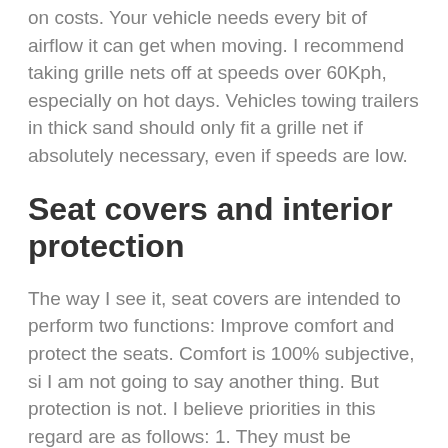on costs. Your vehicle needs every bit of airflow it can get when moving. I recommend taking grille nets off at speeds over 60Kph, especially on hot days. Vehicles towing trailers in thick sand should only fit a grille net if absolutely necessary, even if speeds are low.
Seat covers and interior protection
The way I see it, seat covers are intended to perform two functions: Improve comfort and protect the seats. Comfort is 100% subjective, si I am not going to say another thing. But protection is not. I believe priorities in this regard are as follows: 1. They must be waterproof to be effective. Water-resistant is